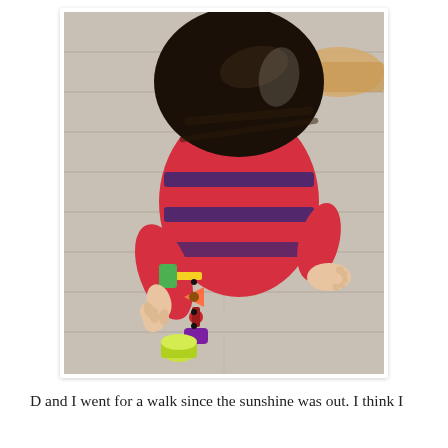[Figure (photo): Overhead view of a young child with dark hair wearing a red and navy striped long-sleeve shirt, sitting on a grey wooden floor and playing with a chain of colorful wooden toy pieces including a yellow strap, green and orange shapes, and a red and purple piece. A yellow cup is on the floor nearby. A wooden rail is visible in the top right corner.]
D and I went for a walk since the sunshine was out. I think I